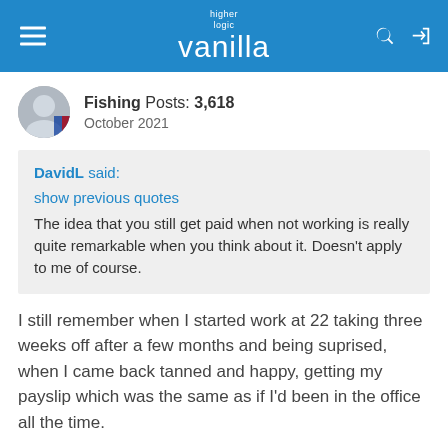higher logic vanilla
Fishing  Posts: 3,618
October 2021
DavidL said:
show previous quotes
The idea that you still get paid when not working is really quite remarkable when you think about it. Doesn't apply to me of course.
I still remember when I started work at 22 taking three weeks off after a few months and being suprised, when I came back tanned and happy, getting my payslip which was the same as if I'd been in the office all the time.
Of course I knew about paid holiday in theory, but it